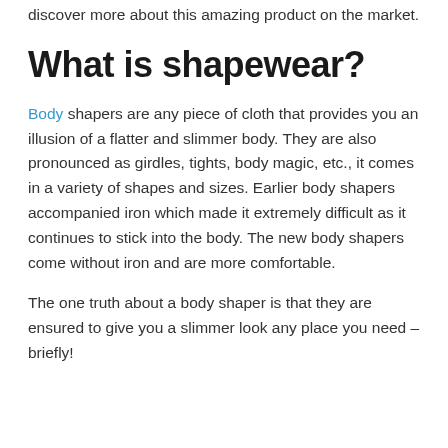discover more about this amazing product on the market.
What is shapewear?
Body shapers are any piece of cloth that provides you an illusion of a flatter and slimmer body. They are also pronounced as girdles, tights, body magic, etc., it comes in a variety of shapes and sizes. Earlier body shapers accompanied iron which made it extremely difficult as it continues to stick into the body. The new body shapers come without iron and are more comfortable.
The one truth about a body shaper is that they are ensured to give you a slimmer look any place you need – briefly!